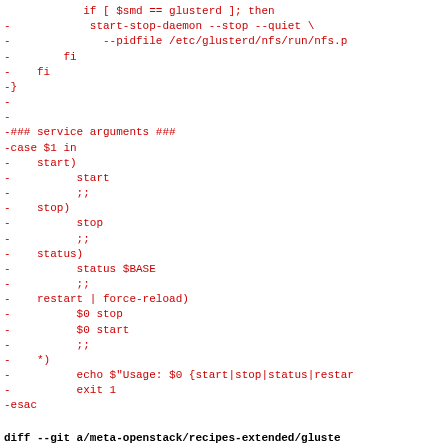if [ $smd == glusterd ]; then
-            start-stop-daemon --stop --quiet \
-              --pidfile /etc/glusterd/nfs/run/nfs.p
-        fi
-    fi
-}
-
-
-### service arguments ###
-case $1 in
-    start)
-          start
-          ;;
-    stop)
-          stop
-          ;;
-    status)
-          status $BASE
-          ;;
-    restart | force-reload)
-          $0 stop
-          $0 start
-          ;;
-    *)
-          echo $"Usage: $0 {start|stop|status|restar
-          exit 1
-esac
-
-exit 0
diff --git a/meta-openstack/recipes-extended/gluste